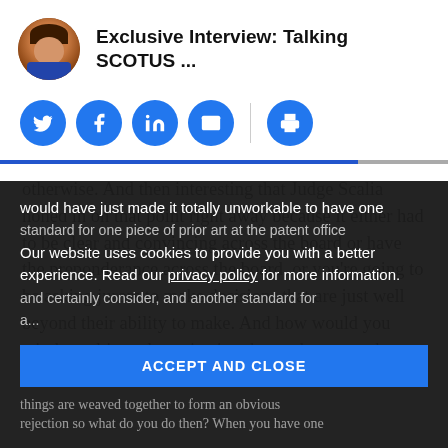Exclusive Interview: Talking SCOTUS ...
[Figure (infographic): Social sharing icons: Twitter, Facebook, LinkedIn, Email, Print]
otherwise.  And then interesting that Judge Scalia honed in on that point right away because it either had to be clear and convincing across the board or have the preponderance across the board, or you're going to be asking jurors to make decisions that are just well beyond their ability to make.  And how would you wind up ultimately reviewing that and so on and so forth?  It would have just made it totally unworkable to have one standard for one piece of prior art at the patent office and certainly consider, and another standard for a... things are weaved together to form an obvious rejection so what do you do then?  When you have one
Our website uses cookies to provide you with a better experience. Read our privacy policy for more information.
ACCEPT AND CLOSE